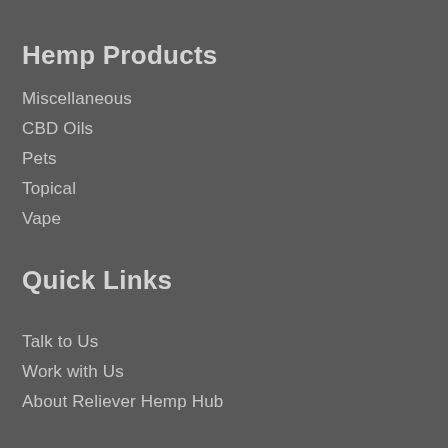Hemp Products
Miscellaneous
CBD Oils
Pets
Topical
Vape
Quick Links
Talk to Us
Work with Us
About Reliever Hemp Hub